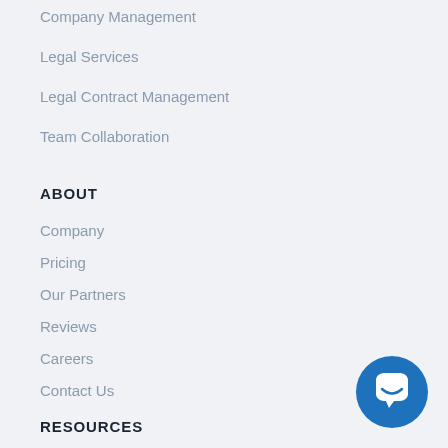Company Management
Legal Services
Legal Contract Management
Team Collaboration
ABOUT
Company
Pricing
Our Partners
Reviews
Careers
Contact Us
RESOURCES
Blog
Legal Guides
[Figure (illustration): Blue circular chat/support button in bottom-right corner with white speech bubble icon]